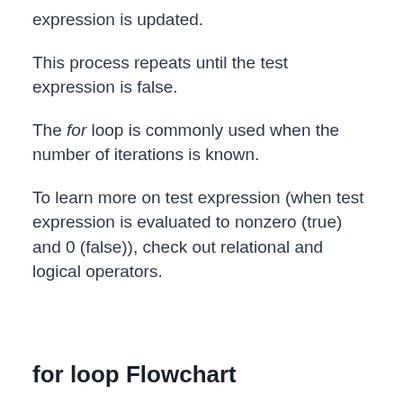expression is updated.
This process repeats until the test expression is false.
The for loop is commonly used when the number of iterations is known.
To learn more on test expression (when test expression is evaluated to nonzero (true) and 0 (false)), check out relational and logical operators.
for loop Flowchart